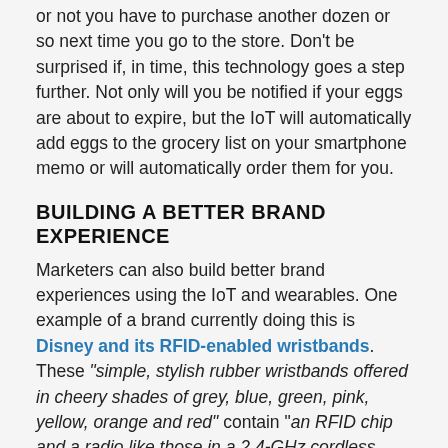or not you have to purchase another dozen or so next time you go to the store. Don't be surprised if, in time, this technology goes a step further. Not only will you be notified if your eggs are about to expire, but the IoT will automatically add eggs to the grocery list on your smartphone memo or will automatically order them for you.
BUILDING A BETTER BRAND EXPERIENCE
Marketers can also build better brand experiences using the IoT and wearables. One example of a brand currently doing this is Disney and its RFID-enabled wristbands. These "simple, stylish rubber wristbands offered in cheery shades of grey, blue, green, pink, yellow, orange and red" contain "an RFID chip and a radio like those in a 2.4-GHz cordless phone." This allows Disney employees to receive signals